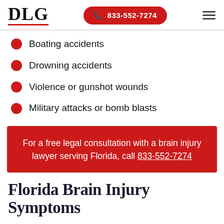DLG | 833-552-7274
Boating accidents
Drowning accidents
Violence or gunshot wounds
Military attacks or bomb blasts
For a free legal consultation with a brain injury lawyer serving Florida, call 833-552-7274
Florida Brain Injury Symptoms